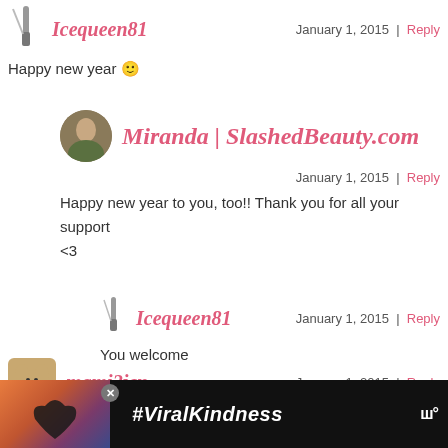Icequeen81 — January 1, 2015 | Reply
Happy new year 🙂
Miranda | SlashedBeauty.com — January 1, 2015 | Reply
Happy new year to you, too!! Thank you for all your support <3
Icequeen81 — January 1, 2015 | Reply
You welcome
mami2jcn — January 1, 2015 | Reply
I resolve to spend more time with my husband.
[Figure (illustration): Advertisement banner with heart hand silhouette against sunset sky and #ViralKindness text]